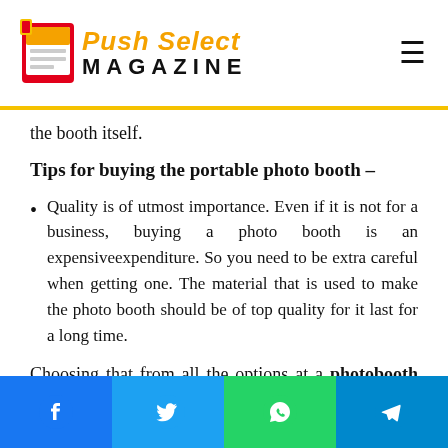Push Select Magazine
the booth itself.
Tips for buying the portable photo booth –
Quality is of utmost importance. Even if it is not for a business, buying a photo booth is an expensiveexpenditure. So you need to be extra careful when getting one. The material that is used to make the photo booth should be of top quality for it last for a long time.
Choosing that from all the options at a photobooth for sale site will be a tough job that you have to perform perfectly.
Facebook Twitter WhatsApp Telegram